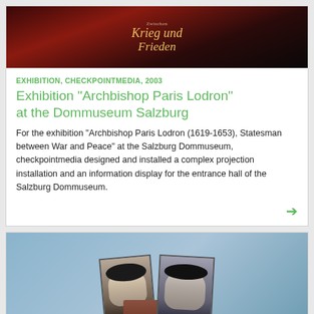[Figure (photo): Dark book cover with red and brown tones showing German text 'Krieg und Frieden' in gold italic lettering]
EXHIBITION, CHECKPOINTMEDIA, 2003
Exhibition "Archbishop Paris Lodron" at the Dommuseum Salzburg
For the exhibition "Archbishop Paris Lodron (1619-1653), Statesman between War and Peace" at the Salzburg Dommuseum, checkpointmedia designed and installed a complex projection installation and an information display for the entrance hall of the Salzburg Dommuseum.
[Figure (photo): Photo collage showing black and white portraits of a woman and a man on what appears to be a media device or display unit with blue background]